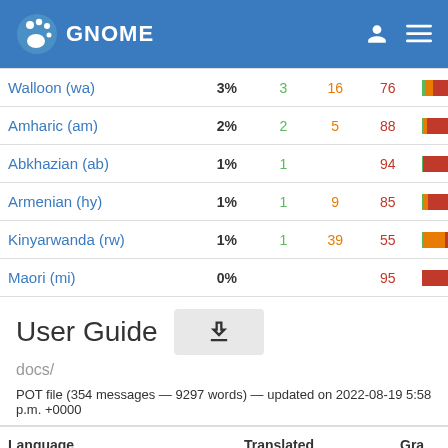GNOME
| Language | Translated |  |  |  |  |
| --- | --- | --- | --- | --- | --- |
| Walloon (wa) | 3% | 3 | 16 | 76 |  |
| Amharic (am) | 2% | 2 | 5 | 88 |  |
| Abkhazian (ab) | 1% | 1 |  | 94 |  |
| Armenian (hy) | 1% | 1 | 9 | 85 |  |
| Kinyarwanda (rw) | 1% | 1 | 39 | 55 |  |
| Maori (mi) | 0% |  |  | 95 |  |
User Guide
docs/
POT file (354 messages — 9297 words) — updated on 2022-08-19 5:58 p.m. +0000
| Language | Translated | Gra |
| --- | --- | --- |